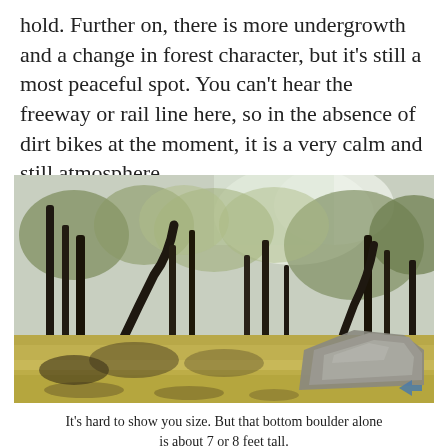hold. Further on, there is more undergrowth and a change in forest character, but it's still a most peaceful spot. You can't hear the freeway or rail line here, so in the absence of dirt bikes at the moment, it is a very calm and still atmosphere.
[Figure (photo): Outdoor forest scene showing tall eucalyptus trees with sparse canopy, dry grass ground cover, and a large rock formation/boulder visible on the right side. Bright sky visible through tree branches.]
It's hard to show you size. But that bottom boulder alone is about 7 or 8 feet tall.